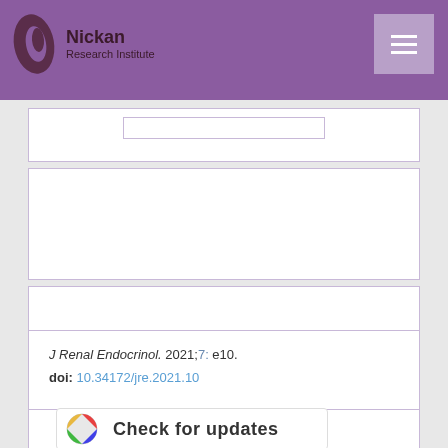Nickan Research Institute
J Renal Endocrinol. 2021;7: e10.
doi: 10.34172/jre.2021.10
[Figure (logo): Check for updates badge]